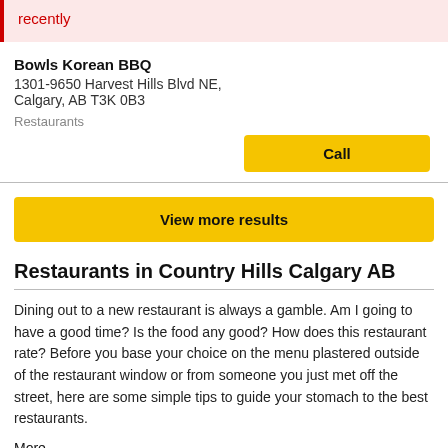recently
Bowls Korean BBQ
1301-9650 Harvest Hills Blvd NE,
Calgary, AB T3K 0B3
Restaurants
Call
View more results
Restaurants in Country Hills Calgary AB
Dining out to a new restaurant is always a gamble. Am I going to have a good time? Is the food any good? How does this restaurant rate? Before you base your choice on the menu plastered outside of the restaurant window or from someone you just met off the street, here are some simple tips to guide your stomach to the best restaurants.
More...